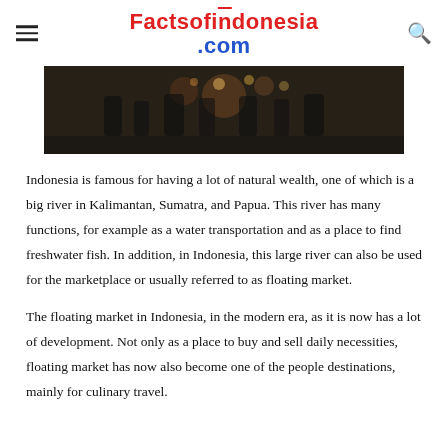Factsofindonesia.com
[Figure (photo): A dark, atmospheric photo of people at what appears to be a night market or indoor market with warm lighting and lanterns.]
Indonesia is famous for having a lot of natural wealth, one of which is a big river in Kalimantan, Sumatra, and Papua. This river has many functions, for example as a water transportation and as a place to find freshwater fish. In addition, in Indonesia, this large river can also be used for the marketplace or usually referred to as floating market.
The floating market in Indonesia, in the modern era, as it is now has a lot of development. Not only as a place to buy and sell daily necessities, floating market has now also become one of the people destinations, mainly for culinary travel.